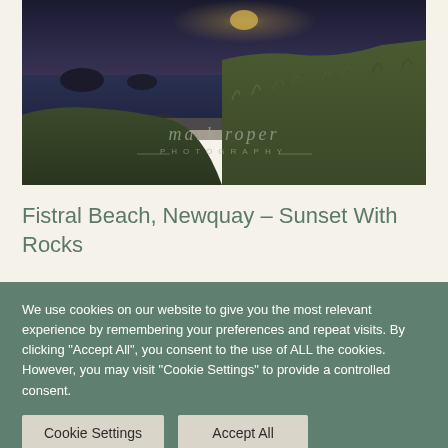[Figure (photo): Coastal landscape photograph at dusk/sunset showing rocky shoreline with grass-covered cliffs in the foreground, rocks and ocean in the background, with a moon or sun reflection on the water. Watermark reads 'MARK ROPER PHOTOGRAPHY'.]
Fistral Beach, Newquay – Sunset With Rocks
We use cookies on our website to give you the most relevant experience by remembering your preferences and repeat visits. By clicking "Accept All", you consent to the use of ALL the cookies. However, you may visit "Cookie Settings" to provide a controlled consent.